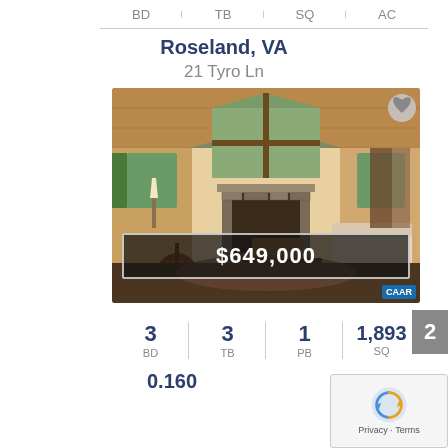BD | TB | SQ | AC
Roseland, VA
21 Tyro Ln
[Figure (photo): Interior photo of a rustic cabin-style living room with vaulted wood ceiling, large triangular windows, stone fireplace, wood-framed furniture, guitar in foreground, and lush green trees visible outside. Price banner showing $649,000 overlaid at bottom. CAAR watermark in corner.]
| BD | TB | PB | SQ |
| --- | --- | --- | --- |
| 3 | 3 | 1 | 1,893 |
0.160